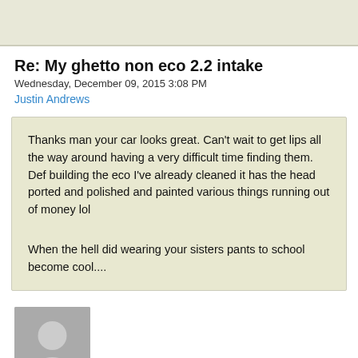Re: My ghetto non eco 2.2 intake
Wednesday, December 09, 2015 3:08 PM
Justin Andrews
Thanks man your car looks great. Can't wait to get lips all the way around having a very difficult time finding them. Def building the eco I've already cleaned it has the head ported and polished and painted various things running out of money lol

When the hell did wearing your sisters pants to school become cool....
[Figure (photo): User avatar placeholder image showing a generic person silhouette in gray]